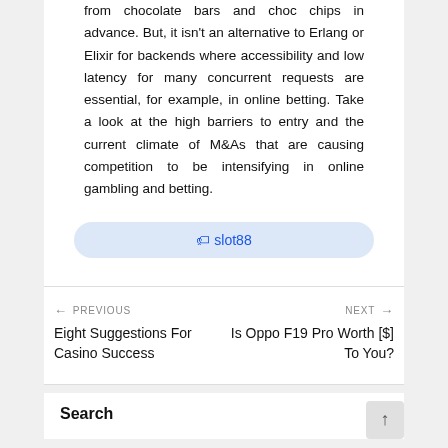from chocolate bars and choc chips in advance. But, it isn't an alternative to Erlang or Elixir for backends where accessibility and low latency for many concurrent requests are essential, for example, in online betting. Take a look at the high barriers to entry and the current climate of M&As that are causing competition to be intensifying in online gambling and betting.
slot88
← PREVIOUS
Eight Suggestions For Casino Success
NEXT →
Is Oppo F19 Pro Worth [$] To You?
Search